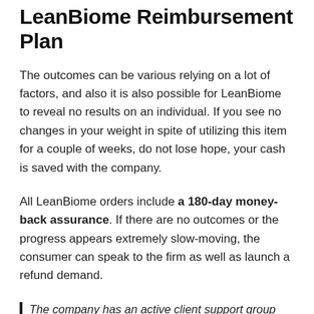LeanBiome Reimbursement Plan
The outcomes can be various relying on a lot of factors, and also it is also possible for LeanBiome to reveal no results on an individual. If you see no changes in your weight in spite of utilizing this item for a couple of weeks, do not lose hope, your cash is saved with the company.
All LeanBiome orders include a 180-day money-back assurance. If there are no outcomes or the progress appears extremely slow-moving, the consumer can speak to the firm as well as launch a refund demand.
The company has an active client support group